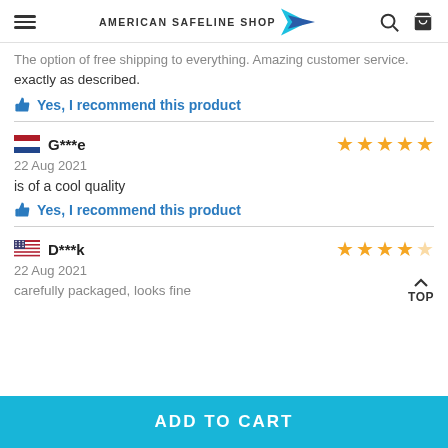American Safeline Shop
The option of free shipping to everything. Amazing customer service. exactly as described.
Yes, I recommend this product
G***e — 22 Aug 2021 — ★★★★★ — is of a cool quality
Yes, I recommend this product
D***k — 22 Aug 2021 — ★★★★☆ — carefully packaged, looks fine
ADD TO CART